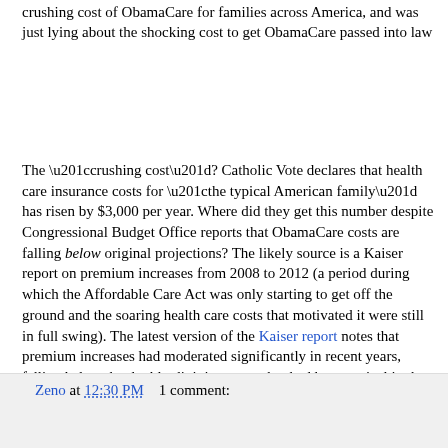crushing cost of ObamaCare for families across America, and was just lying about the shocking cost to get ObamaCare passed into law
The “crushing cost”? Catholic Vote declares that health care insurance costs for “the typical American family” has risen by $3,000 per year. Where did they get this number despite Congressional Budget Office reports that ObamaCare costs are falling below original projections? The likely source is a Kaiser report on premium increases from 2008 to 2012 (a period during which the Affordable Care Act was only starting to get off the ground and the soaring health care costs that motivated it were still in full swing). The latest version of the Kaiser report notes that premium increases had moderated significantly in recent years, falling below the double-digit increases that had been typical in the past. Catholic Vote either hasn't caught up with the latest news or prefers to pretend it doesn't exist.
Zeno at 12:30 PM    1 comment: